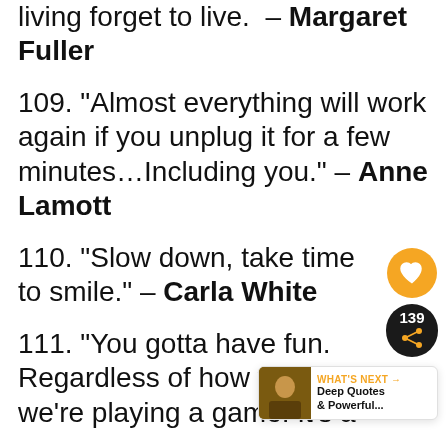living forget to live. – Margaret Fuller
109. “Almost everything will work again if you unplug it for a few minutes…Including you.” – Anne Lamott
110. “Slow down, take time to smile.” – Carla White
111. “You gotta have fun. Regardless of how you loo… we’re playing a game. It’s a